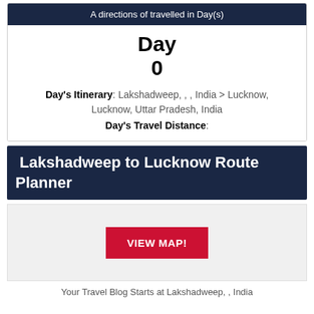A directions of travelled in Day(s)
Day
0
Day's Itinerary: Lakshadweep, , , India > Lucknow, Lucknow, Uttar Pradesh, India
Day's Travel Distance:
Lakshadweep to Lucknow Route Planner
[Figure (other): VIEW MAP! button on a light gray background panel]
Your Travel Blog Starts at Lakshadweep, , India